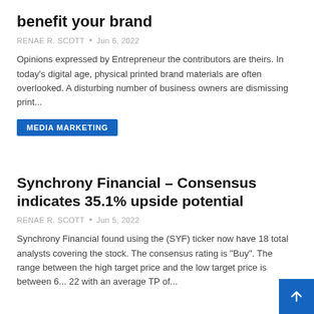benefit your brand
RENAE R. SCOTT  •  Jun 6, 2022
Opinions expressed by Entrepreneur the contributors are theirs. In today's digital age, physical printed brand materials are often overlooked. A disturbing number of business owners are dismissing print...
MEDIA MARKETING
Synchrony Financial – Consensus indicates 35.1% upside potential
RENAE R. SCOTT  •  Jun 5, 2022
Synchrony Financial found using the (SYF) ticker now have 18 total analysts covering the stock. The consensus rating is "Buy". The range between the high target price and the low target price is between 6... 22 with an average TP of...